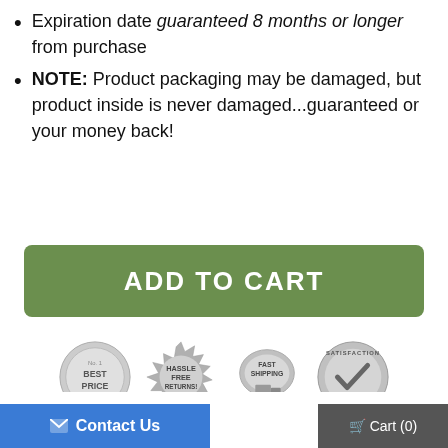Expiration date guaranteed 8 months or longer from purchase
NOTE: Product packaging may be damaged, but product inside is never damaged...guaranteed or your money back!
ADD TO CART
[Figure (infographic): Four gray trust badges: Best Price, Hassle Free Returns!, Fast Shipping, Satisfaction Guaranteed]
You Might Also Like
Contact Us
Cart (0)